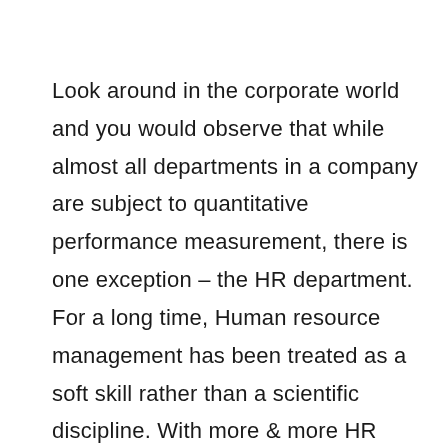Look around in the corporate world and you would observe that while almost all departments in a company are subject to quantitative performance measurement, there is one exception – the HR department. For a long time, Human resource management has been treated as a soft skill rather than a scientific discipline. With more & more HR Technology tools cropping up in the market, it is easier than ever to make your HR team objectively accountable towards their